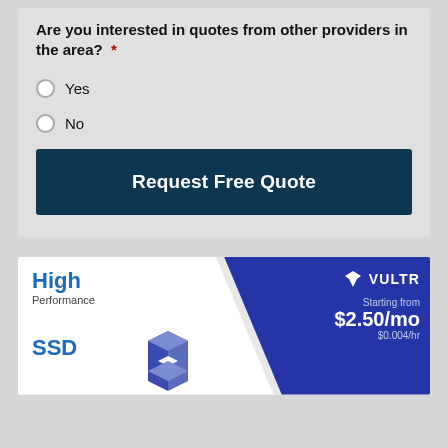Are you interested in quotes from other providers in the area? *
Yes
No
Request Free Quote
[Figure (infographic): Vultr advertisement banner showing High Performance SSD hosting starting from $2.50/mo ($0.004/hr) with blue and white design and 3D cube graphic]